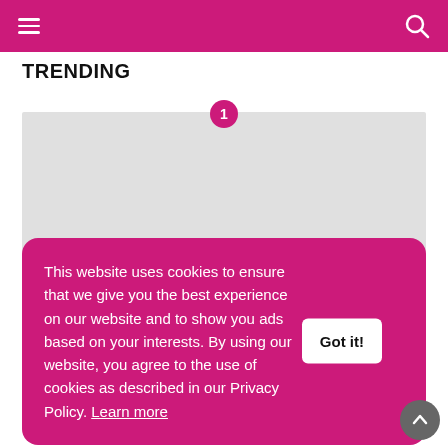Navigation bar with hamburger menu and search icon
TRENDING
[Figure (other): Trending article image placeholder (grey box) with number 1 badge]
This website uses cookies to ensure that we give you the best experience on our website and to show you ads based on your interests. By using our website, you agree to the use of cookies as described in our Privacy Policy. Learn more